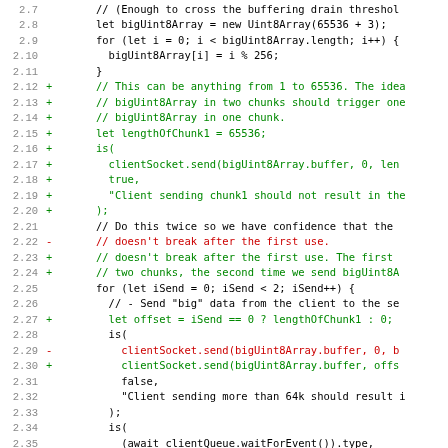[Figure (screenshot): Code diff screenshot showing lines 2.7 through 2.39 of a JavaScript test file. Lines show modifications with + (green additions) and - (red deletions) markers. Context lines are black. Line numbers shown on left. Code involves Uint8Array buffer, socket send operations, and async test functions.]